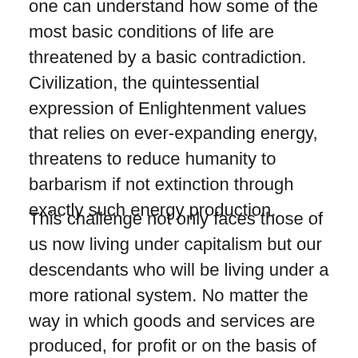one can understand how some of the most basic conditions of life are threatened by a basic contradiction. Civilization, the quintessential expression of Enlightenment values that relies on ever-expanding energy, threatens to reduce humanity to barbarism if not extinction through exactly such energy production.
This challenge not only faces those of us now living under capitalism but our descendants who will be living under a more rational system. No matter the way in which goods and services are produced, for profit or on the basis of human need, humanity is faced with ecological constraints that must be overcome otherwise we will be subject to a Sixth Extinction. Under capitalism, Sixth Extinction is guaranteed. Under socialism, survival is possible but only as a result of a radical transformation of how society is organized, something that Marx alluded to in the